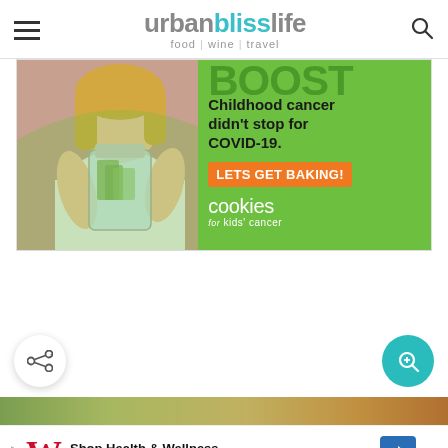[Figure (logo): Urban Bliss Life logo with tagline 'food | wine | travel']
[Figure (infographic): Advertisement banner: Cookies for Kids Cancer - 'Childhood cancer didn't stop for COVID-19. LETS GET BAKING!' with girl holding a jar of money on green background]
[Figure (infographic): Social share button (circular white button with share icon) and teal search button floating on white space]
[Figure (infographic): Bottom advertisement: Walgreens Photo - Shop Health & Wellness]
[Figure (photo): Partial food/nature image strip at bottom of page]